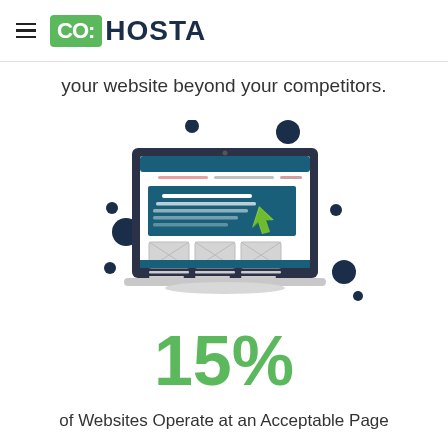CO:HOSTA
your website beyond your competitors.
[Figure (illustration): Illustration of a laptop with a website mockup on screen, showing a teal banner, placeholder image boxes, and a green cursor pointer. Decorative dark blue dots scattered around the laptop.]
15%
of Websites Operate at an Acceptable Page